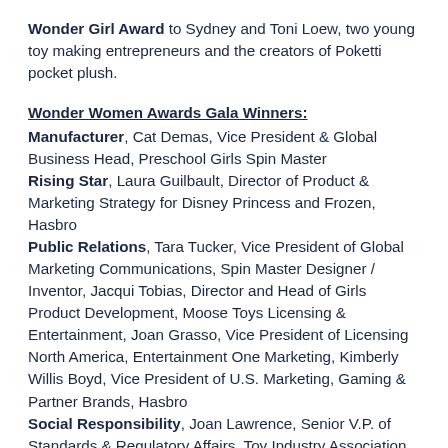Wonder Girl Award to Sydney and Toni Loew, two young toy making entrepreneurs and the creators of Poketti pocket plush.
Wonder Women Awards Gala Winners:
Manufacturer, Cat Demas, Vice President & Global Business Head, Preschool Girls Spin Master Rising Star, Laura Guilbault, Director of Product & Marketing Strategy for Disney Princess and Frozen, Hasbro Public Relations, Tara Tucker, Vice President of Global Marketing Communications, Spin Master Designer / Inventor, Jacqui Tobias, Director and Head of Girls Product Development, Moose Toys Licensing & Entertainment, Joan Grasso, Vice President of Licensing North America, Entertainment One Marketing, Kimberly Willis Boyd, Vice President of U.S. Marketing, Gaming & Partner Brands, Hasbro Social Responsibility, Joan Lawrence, Senior V.P. of Standards & Regulatory Affairs, Toy Industry Association